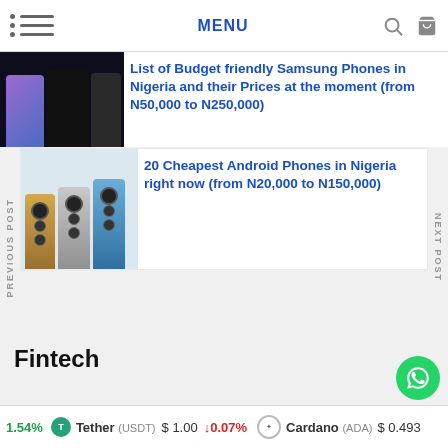MENU
[Figure (screenshot): Navigation bar with hamburger menu, MENU text, search icon, and cart icon]
[Figure (photo): Two Samsung phones side by side]
List of Budget friendly Samsung Phones in Nigeria and their Prices at the moment (from N50,000 to N250,000)
PREVIOUS POST
NEXT POST
[Figure (photo): Multiple iPhone 13 Pro models in gold, silver, and blue colors]
20 Cheapest Android Phones in Nigeria right now (from N20,000 to N150,000)
Fintech
1.54% Tether (USDT) $1.00 ↓0.07% Cardano (ADA) $0.493